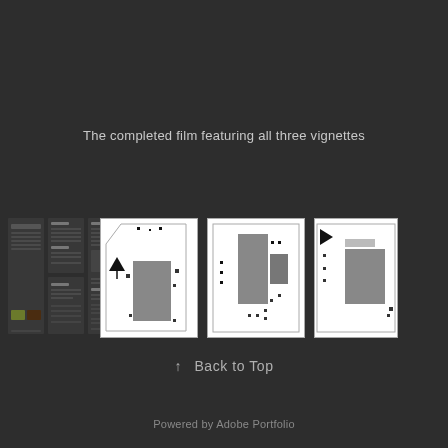The completed film featuring all three vignettes
[Figure (screenshot): Row of thumbnail images: dark-themed document panels on the left, followed by three architectural floor plan diagrams on white backgrounds showing room layouts with furniture]
↑   Back to Top
Powered by Adobe Portfolio